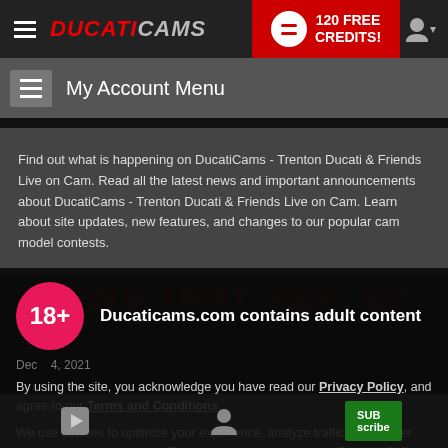DUCATICAMS | 120 FREE CREDITS!
My Account Menu
Find out what is happening on DucatiCams - Trenton Ducati & Friends Live on Cam. Read all the latest news and important announcements about DucatiCams - Trenton Ducati & Friends Live on Cam. Learn about site updates, new features, and changes to our popular cam model contests.
Ducaticams.com contains adult content
By using the site, you acknowledge you have read our Privacy Policy, and agree to our Terms and Conditions.
We use cookies to optimize your experience, analyze traffic, and deliver more personalized service. To learn more, please see our Privacy Policy.
I AGREE